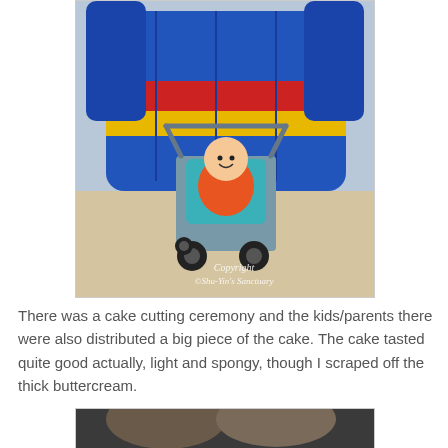[Figure (photo): A smiling toddler in an orange shirt sitting in a teal/grey stroller, in front of a large colorful inflatable slide (blue, red, yellow) inside what appears to be a mall or indoor venue. Watermark text reads 'Copyright ©Shu-Yin's Sanctuary' in italic white over the lower right.]
There was a cake cutting ceremony and the kids/parents there were also distributed a big piece of the cake. The cake tasted quite good actually, light and spongy, though I scraped off the thick buttercream.
[Figure (photo): Partially visible photo at the bottom of the page, showing what appears to be a close-up of a person, cropped.]